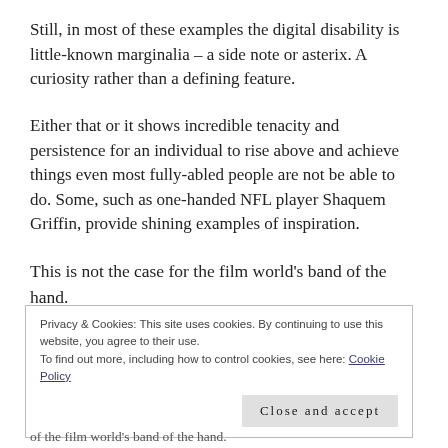Still, in most of these examples the digital disability is little-known marginalia – a side note or asterix. A curiosity rather than a defining feature.
Either that or it shows incredible tenacity and persistence for an individual to rise above and achieve things even most fully-abled people are not be able to do. Some, such as one-handed NFL player Shaquem Griffin, provide shining examples of inspiration.
This is not the case for the film world's band of the hand.
Privacy & Cookies: This site uses cookies. By continuing to use this website, you agree to their use.
To find out more, including how to control cookies, see here: Cookie Policy
Close and accept
of the film world's band of the hand.